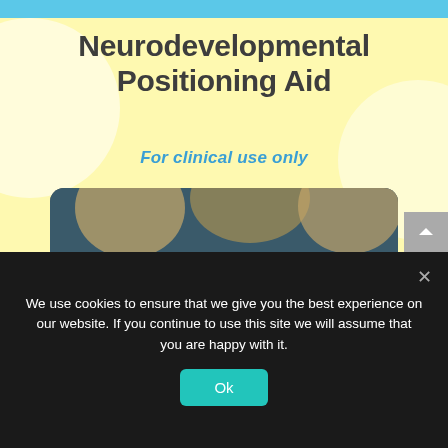Neurodevelopmental Positioning Aid
For clinical use only
[Figure (photo): Photograph of a swaddled newborn infant lying in a NICU incubator/cot, with medical equipment visible in the background]
We use cookies to ensure that we give you the best experience on our website. If you continue to use this site we will assume that you are happy with it.